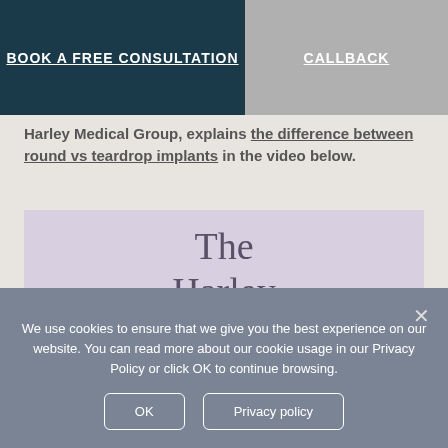BOOK A FREE CONSULTATION | CALLBACK
Harley Medical Group, explains the difference between round vs teardrop implants in the video below.
[Figure (logo): The Harley Medical Group logo on lavender background with text 'The Harley Medical Group', 'FOUNDED ON CARE', and 'One of the UK's leading cosmetic surgery providers']
We use cookies to ensure that we give you the best experience on our website. You can read more about our cookie usage in our Privacy Policy or click OK to continue browsing.